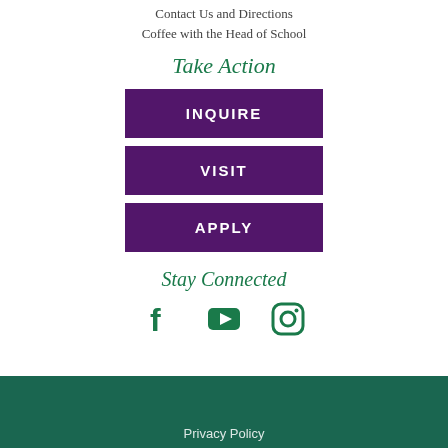Contact Us and Directions
Coffee with the Head of School
Take Action
INQUIRE
VISIT
APPLY
Stay Connected
[Figure (illustration): Three social media icons: Facebook (f), YouTube (play button triangle), Instagram (camera outline), all in dark green]
Privacy Policy